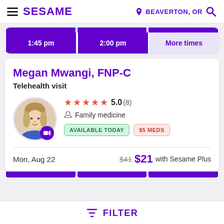SESAME — BEAVERTON, OR
1:45 pm   2:00 pm   More times
Megan Mwangi, FNP-C
Telehealth visit
★★★★★ 5.0 (8)
Family medicine
AVAILABLE TODAY   $5 MEDS
Mon, Aug 22   $41  $21 with Sesame Plus
FILTER